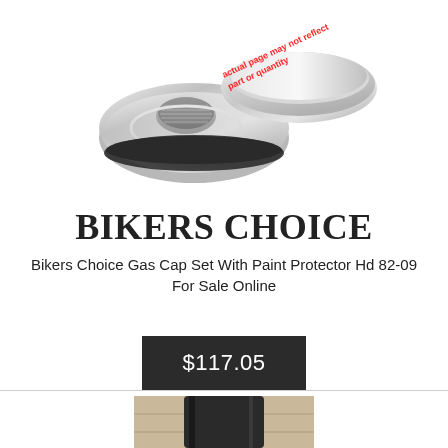[Figure (photo): Chrome motorcycle gas cap set with paint protector, showing two circular chrome pieces with rubber gasket on white background. Red diagonal watermark text reads 'actual page may not reflect part or quantity'.]
BIKERS CHOICE
Bikers Choice Gas Cap Set With Paint Protector Hd 82-09 For Sale Online
$117.05
[Figure (photo): Partial view of a black motorcycle part (appears to be a handlebar or lever component) on a wooden surface, partially cropped at bottom of page.]